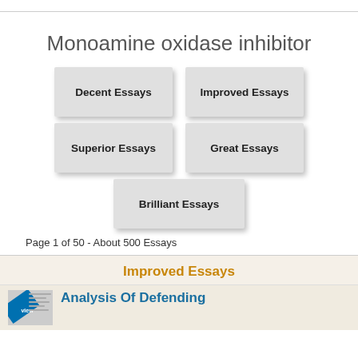Monoamine oxidase inhibitor
Decent Essays
Improved Essays
Superior Essays
Great Essays
Brilliant Essays
Page 1 of 50 - About 500 Essays
Improved Essays
Analysis Of Defending